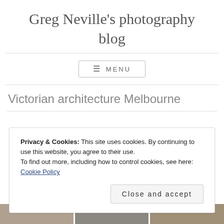Greg Neville's photography blog
Victorian architecture Melbourne
Privacy & Cookies: This site uses cookies. By continuing to use this website, you agree to their use.
To find out more, including how to control cookies, see here: Cookie Policy
Close and accept
[Figure (photo): Partial photo strip showing Victorian architecture images at the bottom of the page]